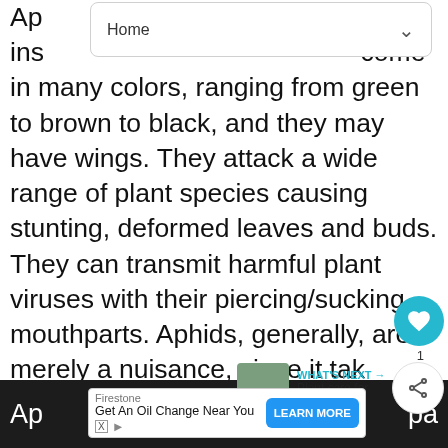[Figure (screenshot): Browser navigation bar showing 'Home' with a dropdown chevron, overlaying the top portion of article text.]
Aphids are small, soft-bodied insects that come in many colors, ranging from green to brown to black, and they may have wings. They attack a wide range of plant species causing stunting, deformed leaves and buds. They can transmit harmful plant viruses with their piercing/sucking mouthparts. Aphids, generally, are merely a nuisance, since it takes many of them to cause serious plant damage. However aphids do produce a sweet substance called honeydew (coveted by ants), which can lead to an unattractive black growth called sooty mold.
[Figure (screenshot): UI overlay elements: teal heart/favorite button, share button, count '1', and a 'WHAT'S NEXT' panel showing 'Plant care for Nemophila,...']
[Figure (screenshot): Bottom advertisement banner: Firestone 'Get An Oil Change Near You' with a blue 'LEARN MORE' button and Ad markers.]
Ap... pa...